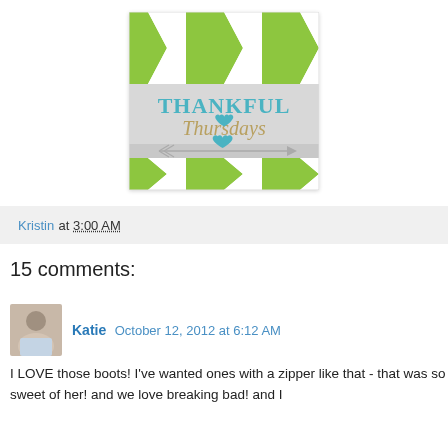[Figure (logo): Thankful Thursdays logo with green and white chevron pattern background, teal block letters spelling THANKFUL, gold italic cursive Thursdays, gray arrow with teal heart]
Kristin at 3:00 AM
15 comments:
Katie  October 12, 2012 at 6:12 AM
I LOVE those boots! I've wanted ones with a zipper like that - that was so sweet of her! and we love breaking bad! and I